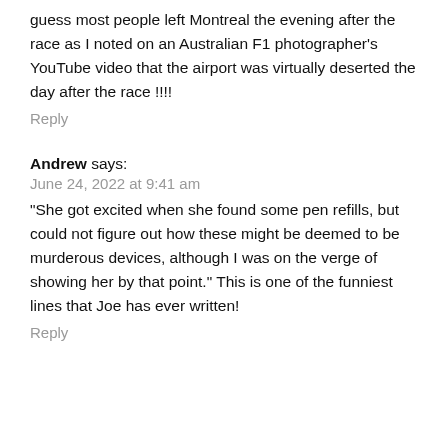guess most people left Montreal the evening after the race as I noted on an Australian F1 photographer's YouTube video that the airport was virtually deserted the day after the race !!!!
Reply
Andrew says:
June 24, 2022 at 9:41 am
"She got excited when she found some pen refills, but could not figure out how these might be deemed to be murderous devices, although I was on the verge of showing her by that point." This is one of the funniest lines that Joe has ever written!
Reply